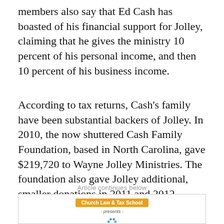members also say that Ed Cash has boasted of his financial support for Jolley, claiming that he gives the ministry 10 percent of his personal income, and then 10 percent of his business income.
According to tax returns, Cash’s family have been substantial backers of Jolley. In 2010, the now shuttered Cash Family Foundation, based in North Carolina, gave $219,720 to Wayne Jolley Ministries. The foundation also gave Jolley additional, smaller donations in 2011 and 2012.
Article continues below
[Figure (screenshot): Advertisement for Church Law & Tax School showing connected icons/nodes diagram]